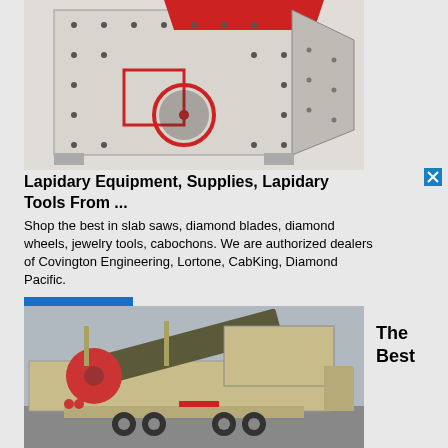[Figure (photo): Industrial impact crusher/lapidary machine, white/grey body with red accents, photographed against white background]
Lapidary Equipment, Supplies, Lapidary Tools From ...
Shop the best in slab saws, diamond blades, diamond wheels, jewelry tools, cabochons. We are authorized dealers of Covington Engineering, Lortone, CabKing, Diamond Pacific.
More Details
[Figure (photo): Mobile crushing/screening plant on trailer, tan/beige colored heavy equipment with conveyor belts, parked outdoors]
The Best